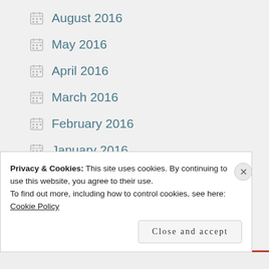August 2016
May 2016
April 2016
March 2016
February 2016
January 2016
December 2015
November 2015
October 2015
Privacy & Cookies: This site uses cookies. By continuing to use this website, you agree to their use.
To find out more, including how to control cookies, see here: Cookie Policy
Close and accept